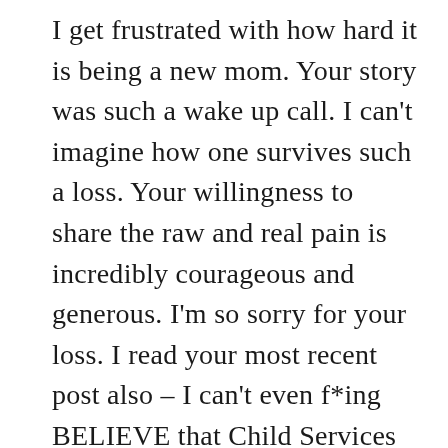I get frustrated with how hard it is being a new mom. Your story was such a wake up call. I can't imagine how one survives such a loss. Your willingness to share the raw and real pain is incredibly courageous and generous. I'm so sorry for your loss. I read your most recent post also – I can't even f*ing BELIEVE that Child Services would come to your home and treat you in such a way. It is inhumane and inexcusable. I wish there was something I could do to help. Your experience has made me recognize